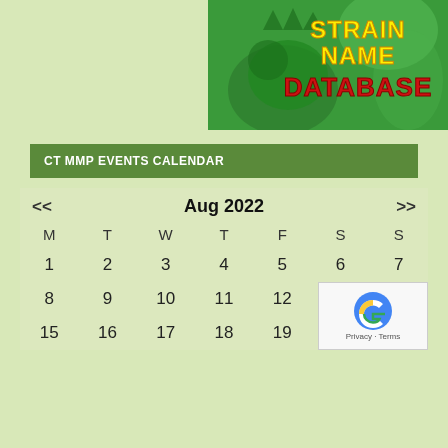[Figure (illustration): Cartoon dinosaur/monster graphic with bold text 'STRAIN NAME DATABASE' in yellow and red on green background]
CT MMP EVENTS CALENDAR
[Figure (other): August 2022 calendar widget showing days M T W T F S S with dates 1-20 visible, navigation arrows << and >>]